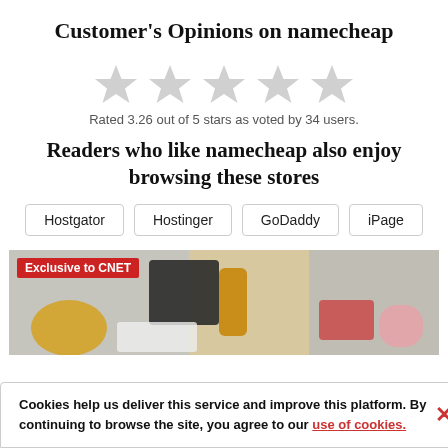Customer's Opinions on namecheap
[Figure (other): Five empty/unrated grey star icons representing a rating widget]
Rated 3.26 out of 5 stars as voted by 34 users.
Readers who like namecheap also enjoy browsing these stores
Hostgator  Hostinger  GoDaddy  iPage
[Figure (photo): Photo of various food/supplement products on a white background with an 'Exclusive to CNET' red badge overlay]
Cookies help us deliver this service and improve this platform. By continuing to browse the site, you agree to our use of cookies.